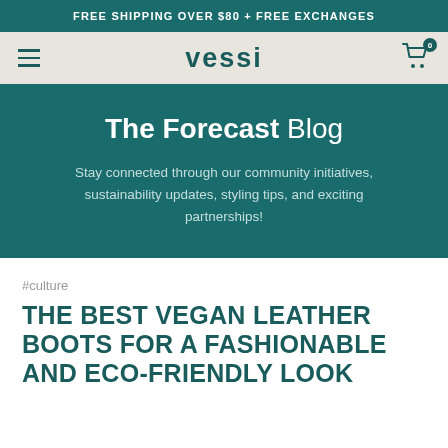FREE SHIPPING OVER $80 + FREE EXCHANGES
[Figure (logo): Vessi brand logo in teal/dark green on light gray navigation bar, with hamburger menu icon on left and shopping cart icon with badge '0' on right]
The Forecast Blog
Stay connected through our community initiatives, sustainability updates, styling tips, and exciting partnerships!
#culture
THE BEST VEGAN LEATHER BOOTS FOR A FASHIONABLE AND ECO-FRIENDLY LOOK